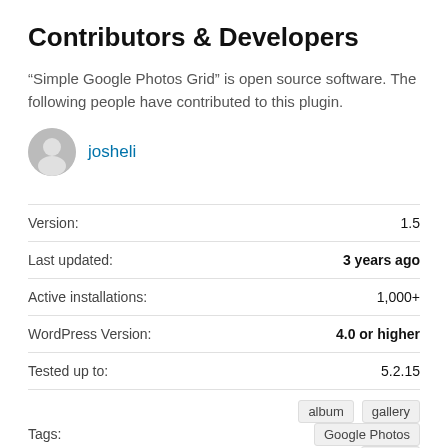Contributors & Developers
“Simple Google Photos Grid” is open source software. The following people have contributed to this plugin.
josheli
|  |  |
| --- | --- |
| Version: | 1.5 |
| Last updated: | 3 years ago |
| Active installations: | 1,000+ |
| WordPress Version: | 4.0 or higher |
| Tested up to: | 5.2.15 |
| Tags: | album  gallery  Google Photos  photos |